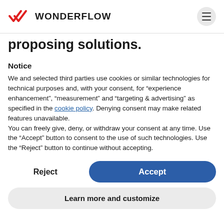WONDERFLOW
proposing solutions.
Notice
We and selected third parties use cookies or similar technologies for technical purposes and, with your consent, for “experience enhancement”, “measurement” and “targeting & advertising” as specified in the cookie policy. Denying consent may make related features unavailable.
You can freely give, deny, or withdraw your consent at any time. Use the “Accept” button to consent to the use of such technologies. Use the “Reject” button to continue without accepting.
Reject
Accept
Learn more and customize